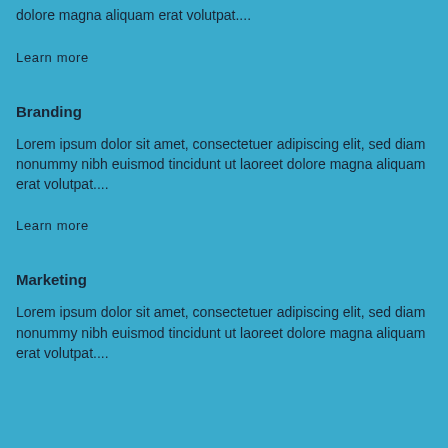dolore magna aliquam erat volutpat....
Learn more
Branding
Lorem ipsum dolor sit amet, consectetuer adipiscing elit, sed diam nonummy nibh euismod tincidunt ut laoreet dolore magna aliquam erat volutpat....
Learn more
Marketing
Lorem ipsum dolor sit amet, consectetuer adipiscing elit, sed diam nonummy nibh euismod tincidunt ut laoreet dolore magna aliquam erat volutpat....